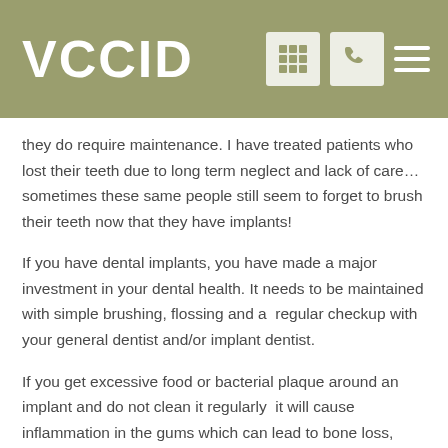VCCID
they do require maintenance. I have treated patients who lost their teeth due to long term neglect and lack of care… sometimes these same people still seem to forget to brush their teeth now that they have implants!
If you have dental implants, you have made a major investment in your dental health. It needs to be maintained with simple brushing, flossing and a  regular checkup with your general dentist and/or implant dentist.
If you get excessive food or bacterial plaque around an implant and do not clean it regularly  it will cause inflammation in the gums which can lead to bone loss, infection and problems and/or even loss of the implant.